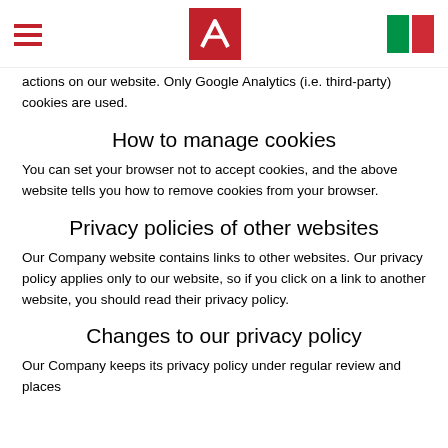[hamburger menu] [logo] [Italian flag]
actions on our website. Only Google Analytics (i.e. third-party) cookies are used.
How to manage cookies
You can set your browser not to accept cookies, and the above website tells you how to remove cookies from your browser.
Privacy policies of other websites
Our Company website contains links to other websites. Our privacy policy applies only to our website, so if you click on a link to another website, you should read their privacy policy.
Changes to our privacy policy
Our Company keeps its privacy policy under regular review and places